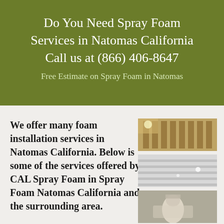Do You Need Spray Foam Services in Natomas California Call us at (866) 406-8647
Free Estimate on Spray Foam in Natomas
We offer many foam installation services in Natomas California. Below is some of the services offered by CAL Spray Foam in Spray Foam Natomas California and the surrounding area.
[Figure (photo): Interior photo showing spray foam insulation on wooden wall panels]
[Figure (photo): Interior photo showing spray foam insulation on ceiling panels]
[Figure (photo): Worker in protective suit spraying foam insulation]